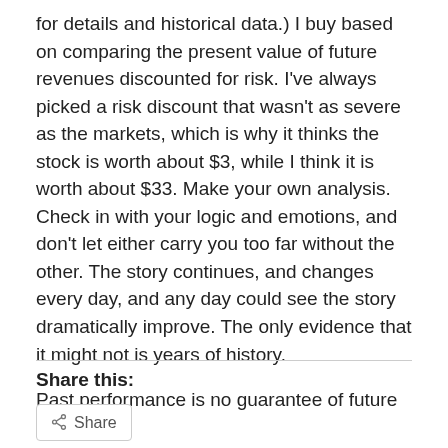for details and historical data.) I buy based on comparing the present value of future revenues discounted for risk. I've always picked a risk discount that wasn't as severe as the markets, which is why it thinks the stock is worth about $3, while I think it is worth about $33. Make your own analysis. Check in with your logic and emotions, and don't let either carry you too far without the other. The story continues, and changes every day, and any day could see the story dramatically improve. The only evidence that it might not is years of history.
Past performance is no guarantee of future results.
Share this: